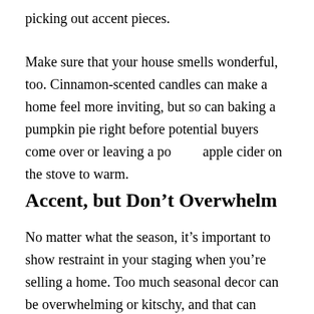picking out accent pieces.
Make sure that your house smells wonderful, too. Cinnamon-scented candles can make a home feel more inviting, but so can baking a pumpkin pie right before potential buyers come over or leaving a pot of apple cider on the stove to warm.
Accent, but Don’t Overwhelm
No matter what the season, it’s important to show restraint in your staging when you’re selling a home. Too much seasonal decor can be overwhelming or kitschy, and that can make buyers feel claustrophobic. Less is always more...